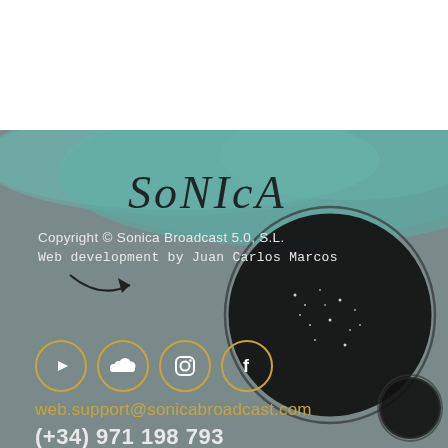[Figure (illustration): Sonica Broadcast website footer page. Top white area. Below: grey-teal background with hand-drawn SONICA logo text in black, teal brushstroke, copyright text, web development credit, curved arrow illustration, large black hand-drawn planet/orb with white dots, small black orb, four social media icon circles (YouTube, SoundCloud, Instagram, Facebook) in gold/yellow outlined circles, email address in gold, phone number in white.]
Copyright © Sonica Broadcast 5.0, S.L.
Web development by Juan Carlos Marcos
web.support@sonicabroadcast.com
(+34) 971 198 793